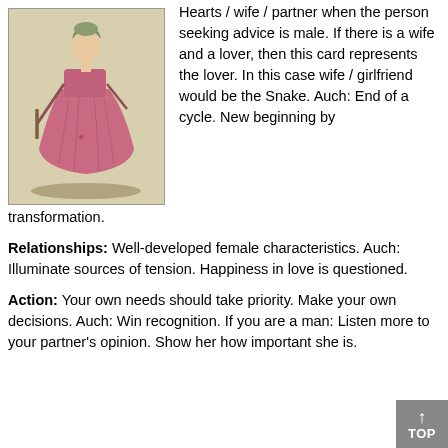[Figure (illustration): Historical illustration of a woman in a pink/rose long dress, carrying what appear to be poles or staffs, rendered in an antique engraving style on aged paper background.]
Hearts / wife / partner when the person seeking advice is male. If there is a wife and a lover, then this card represents the lover. In this case wife / girlfriend would be the Snake. Auch: End of a cycle. New beginning by transformation.
Relationships: Well-developed female characteristics. Auch: Illuminate sources of tension. Happiness in love is questioned.
Action: Your own needs should take priority. Make your own decisions. Auch: Win recognition. If you are a man: Listen more to your partner's opinion. Show her how important she is.